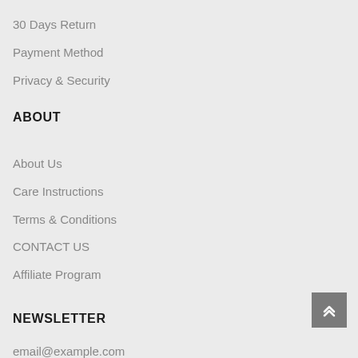30 Days Return
Payment Method
Privacy & Security
ABOUT
About Us
Care Instructions
Terms & Conditions
CONTACT US
Affiliate Program
NEWSLETTER
email@example.com